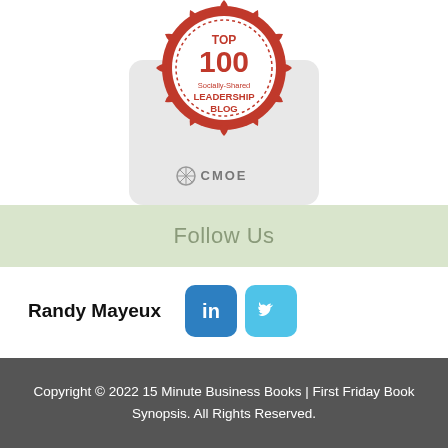[Figure (logo): Red wax seal badge reading TOP 100 Socially-Shared LEADERSHIP BLOG with CMOE logo below on a light grey rounded rectangle card]
Follow Us
Randy Mayeux
[Figure (logo): LinkedIn icon — white 'in' on blue rounded square]
[Figure (logo): Twitter icon — white bird on light blue rounded square]
Copyright © 2022 15 Minute Business Books | First Friday Book Synopsis. All Rights Reserved.